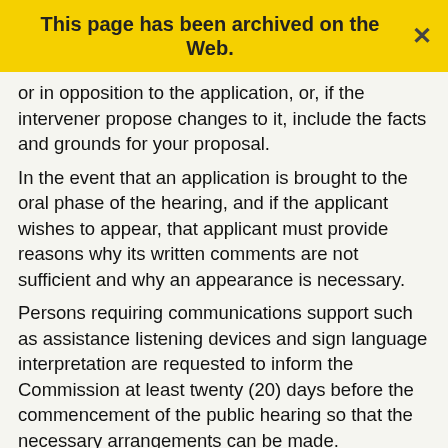This page has been archived on the Web.
or in opposition to the application, or, if the intervener propose changes to it, include the facts and grounds for your proposal.
In the event that an application is brought to the oral phase of the hearing, and if the applicant wishes to appear, that applicant must provide reasons why its written comments are not sufficient and why an appearance is necessary.
Persons requiring communications support such as assistance listening devices and sign language interpretation are requested to inform the Commission at least twenty (20) days before the commencement of the public hearing so that the necessary arrangements can be made.
Important notice
Note that all information that parties provide as part of this public process, except information granted confidentiality by the pursuant to any applicable...